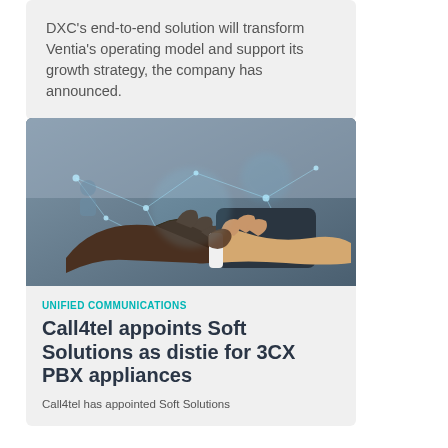DXC’s end-to-end solution will transform Ventia’s operating model and support its growth strategy, the company has announced.
[Figure (photo): Two people shaking hands with a digital network overlay graphic in the background.]
UNIFIED COMMUNICATIONS
Call4tel appoints Soft Solutions as distie for 3CX PBX appliances
Call4tel has appointed Soft Solutions